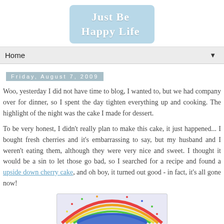Just Be Happy Life
Home
Friday, August 7, 2009
Woo, yesterday I did not have time to blog, I wanted to, but we had company over for dinner, so I spent the day tighten everything up and cooking. The highlight of the night was the cake I made for dessert.
To be very honest, I didn't really plan to make this cake, it just happened... I bought fresh cherries and it's embarrassing to say, but my husband and I weren't eating them, although they were very nice and sweet. I thought it would be a sin to let those go bad, so I searched for a recipe and found a upside down cherry cake, and oh boy, it turned out good - in fact, it's all gone now!
[Figure (photo): A photo showing the top of a cake with rainbow-colored decoration, blue icing and rainbow arc visible from above.]